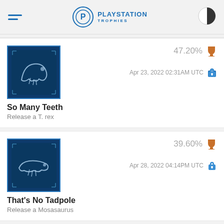PLAYSTATION TROPHIES
So Many Teeth | Release a T. rex | 47.20% | Apr 23, 2022 02:31AM UTC
That's No Tadpole | Release a Mosasaurus | 39.60% | Apr 28, 2022 04:14PM UTC
62.60% | Apr 21, 2022 07:41PM UTC